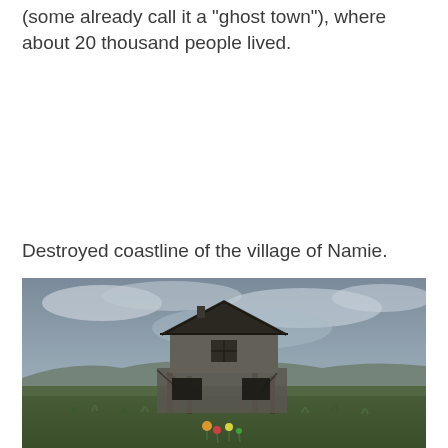(some already call it a "ghost town"), where about 20 thousand people lived.
Destroyed coastline of the village of Namie.
[Figure (photo): A heavily damaged two-story Japanese house stands on a desolate, overgrown coastline under a cloudy grey sky. The structure is severely damaged with exposed support beams and collapsing walls. Overgrown grass and small memorial offerings are visible in the foreground. The setting is the destroyed coastline of the village of Namie.]